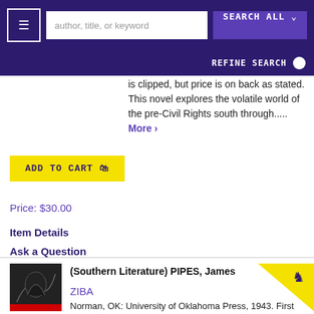author, title, or keyword | SEARCH ALL | REFINE SEARCH
is clipped, but price is on back as stated. This novel explores the volatile world of the pre-Civil Rights south through..... More ›
ADD TO CART
Price: $30.00
Item Details
Ask a Question
(Southern Literature) PIPES, James
ZIBA
Norman, OK: University of Oklahoma Press, 1943. First Edition, First Printing,